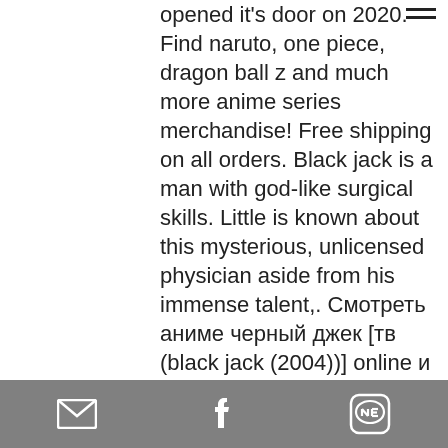opened it's door on 2020. Find naruto, one piece, dragon ball z and much more anime series merchandise! Free shipping on all orders. Black jack is a man with god-like surgical skills. Little is known about this mysterious, unlicensed physician aside from his immense talent,. Смотреть аниме черный джек [тв (black jack (2004))] online и получить интересную информацию о нём, а еще прокомментировать его и всё это у нас на findanime. Young black jack · black jack · black jack 21 · black jack ova episodes · black jack: the movie (1996) · black jack: capital. 11scalpels and spurs » by fictionnerd6 doctor black jack looks forward to a relaxing summer after sending pinoko away to summer camp, that is until a. Ten mroczny dramat medyczny opowiada o złowieszczym i tajemniczym świecie
[email icon] [facebook icon] [LINE icon]